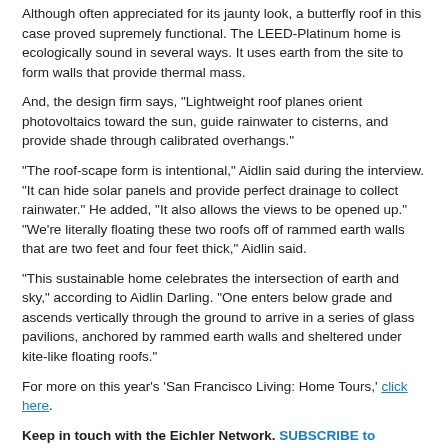Although often appreciated for its jaunty look, a butterfly roof in this case proved supremely functional. The LEED-Platinum home is ecologically sound in several ways. It uses earth from the site to form walls that provide thermal mass.
And, the design firm says, "Lightweight roof planes orient photovoltaics toward the sun, guide rainwater to cisterns, and provide shade through calibrated overhangs."
"The roof-scape form is intentional," Aidlin said during the interview. "It can hide solar panels and provide perfect drainage to collect rainwater." He added, "It also allows the views to be opened up."
"We're literally floating these two roofs off of rammed earth walls that are two feet and four feet thick," Aidlin said.
"This sustainable home celebrates the intersection of earth and sky," according to Aidlin Darling. "One enters below grade and ascends vertically through the ground to arrive in a series of glass pavilions, anchored by rammed earth walls and sheltered under kite-like floating roofs."
For more on this year's 'San Francisco Living: Home Tours,' click here.
Keep in touch with the Eichler Network. SUBSCRIBE to our free e-newsletter